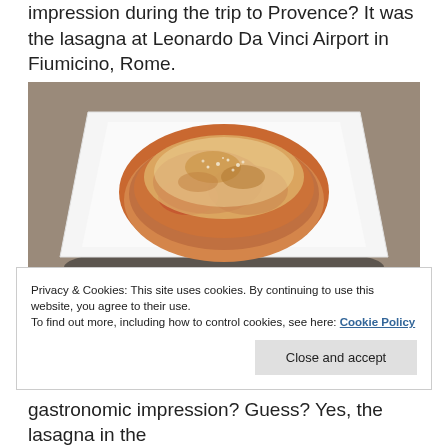impression during the trip to Provence? It was the lasagna at Leonardo Da Vinci Airport in Fiumicino, Rome.
[Figure (photo): A plate of lasagna served on a white square plate, photographed from above at a slight angle. The lasagna is topped with tomato sauce and grated cheese. A watermark reads 'Victor Travel Blog'.]
Privacy & Cookies: This site uses cookies. By continuing to use this website, you agree to their use.
To find out more, including how to control cookies, see here: Cookie Policy
Close and accept
gastronomic impression? Guess? Yes, the lasagna in the